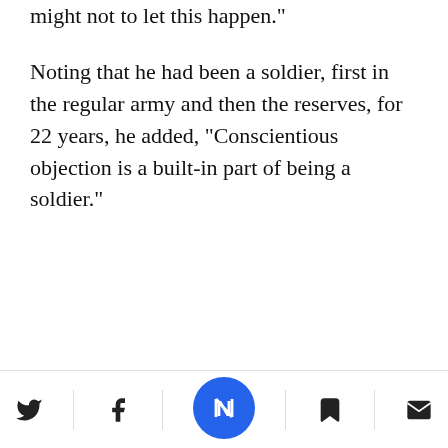thing. I will work with all my soul and all my might not to let this happen."
Noting that he had been a soldier, first in the regular army and then the reserves, for 22 years, he added, "Conscientious objection is a built-in part of being a soldier."
[Figure (other): Newsletter signup advertisement box with Newsweek N logo icon, bold heading 'Breaking news and analyses delivered to your inbox', and a 'Click here' button, shown partially.]
[Figure (other): Bottom navigation bar with Twitter, Facebook, Newsweek N (blue circle center button), bookmark, and email icons.]